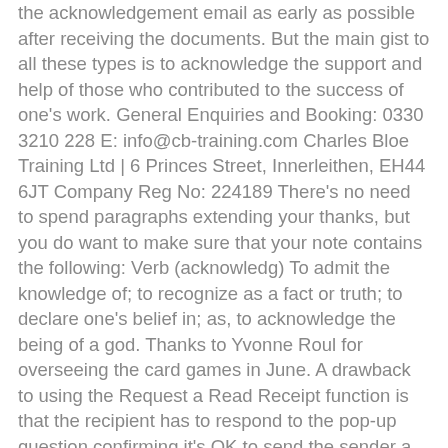the acknowledgement email as early as possible after receiving the documents. But the main gist to all these types is to acknowledge the support and help of those who contributed to the success of one's work. General Enquiries and Booking: 0330 3210 228 E: info@cb-training.com Charles Bloe Training Ltd | 6 Princes Street, Innerleithen, EH44 6JT Company Reg No: 224189 There's no need to spend paragraphs extending your thanks, but you do want to make sure that your note contains the following: Verb (acknowledg) To admit the knowledge of; to recognize as a fact or truth; to declare one's belief in; as, to acknowledge the being of a god. Thanks to Yvonne Roul for overseeing the card games in June. A drawback to using the Request a Read Receipt function is that the recipient has to respond to the pop-up question confirming it's OK to send the sender a read receipt notification, which may annoy the recipient. ; I must say that, as of course is my duty, I have duly noted and will take due account of these opinions. Express